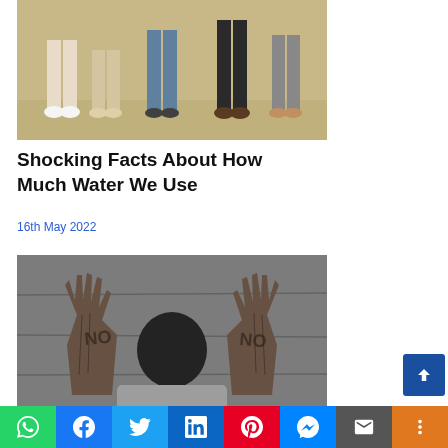[Figure (photo): Partial view of people standing, showing only their legs and feet]
Shocking Facts About How Much Water We Use
16th May 2022
[Figure (photo): Black and white image of a person covering their face with both hands raised, palms facing outward with text written on them]
Child Abuse: Speaking Up Is Not A Crime
WhatsApp | Facebook | Twitter | LinkedIn | Pinterest | Messenger | Email | More